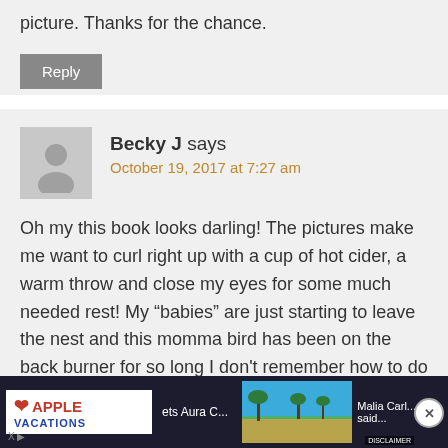picture. Thanks for the chance.
Reply
Becky J says
October 19, 2017 at 7:27 am
Oh my this book looks darling! The pictures make me want to curl right up with a cup of hot cider, a warm throw and close my eyes for some much needed rest! My “babies” are just starting to leave the nest and this momma bird has been on the back burner for so long I don't remember how to do ‘me time’- but my weary soul
[Figure (screenshot): Advertisement banner: Apple Vacations logo with tropical beach image and text, with a close button (X)]